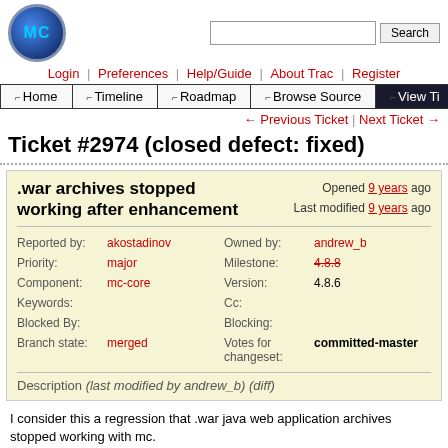[Figure (logo): MC logo - circular blue icon with MC text]
Login | Preferences | Help/Guide | About Trac | Register
Home | Timeline | Roadmap | Browse Source | View T...
← Previous Ticket | Next Ticket →
Ticket #2974 (closed defect: fixed)
.war archives stopped working after enhancement
Opened 9 years ago
Last modified 9 years ago
| Field | Value | Field | Value |
| --- | --- | --- | --- |
| Reported by: | akostadinov | Owned by: | andrew_b |
| Priority: | major | Milestone: | 4.8.8 |
| Component: | mc-core | Version: | 4.8.6 |
| Keywords: |  | Cc: |  |
| Blocked By: |  | Blocking: |  |
| Branch state: | merged | Votes for changeset: | committed-master |
Description (last modified by andrew_b) (diff)
I consider this a regression that .war java web application archives stopped working with mc.